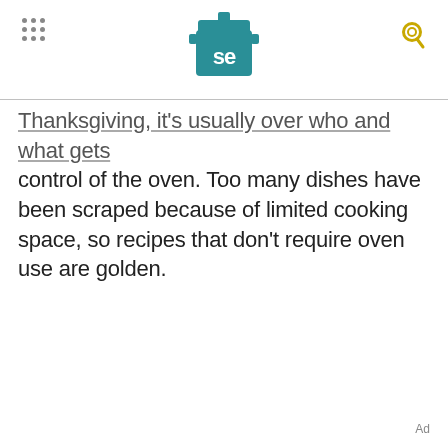Serious Eats header with logo and navigation
Thanksgiving, it's usually over who and what gets control of the oven. Too many dishes have been scraped because of limited cooking space, so recipes that don't require oven use are golden.
Ad